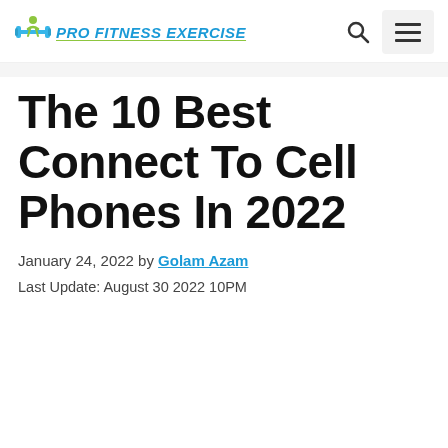PRO FITNESS EXERCISE
The 10 Best Connect To Cell Phones In 2022
January 24, 2022 by Golam Azam
Last Update: August 30 2022 10PM